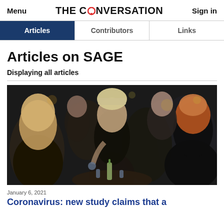Menu | THE CONVERSATION | Sign in
Articles | Contributors | Links
Articles on SAGE
Displaying all articles
[Figure (photo): A crowd of young people sitting outdoors at tables, socialising and drinking. A young woman in a cream beanie hat is prominently featured in the centre.]
January 6, 2021
Coronavirus: new study claims that a